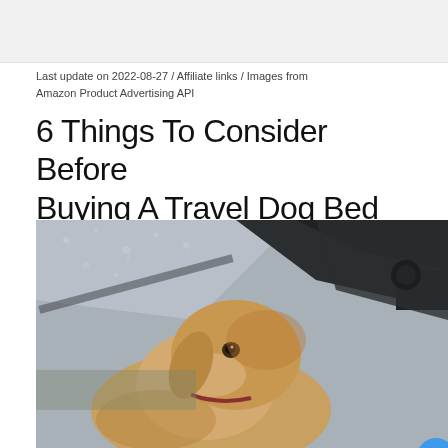[Figure (other): Advertisement banner at top of page]
Last update on 2022-08-27 / Affiliate links / Images from Amazon Product Advertising API
6 Things To Consider Before Buying A Travel Dog Bed
[Figure (photo): Golden retriever dog looking out a rain-covered car window, shot from inside the vehicle. Social sharing buttons visible on right side including heart/like button (blue circle), count button showing '1', and share button. 'What's Next' overlay in bottom right showing thumbnail and text 'Do Dogs Get Period...']